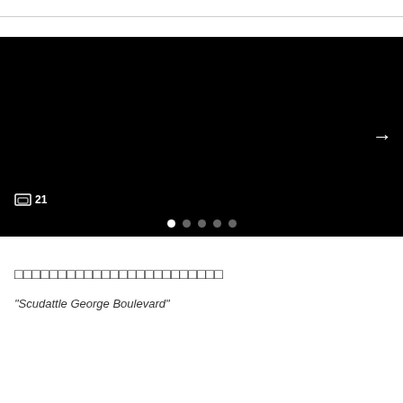[Figure (photo): Black image panel (slideshow/gallery) with a right-arrow navigation button, a photo count icon showing 21, and five pagination dots at the bottom (first dot active/white, rest grey).]
□□□□□□□□□□□□□□□□□□□□□□□□
"Scudattle George Boulevard"